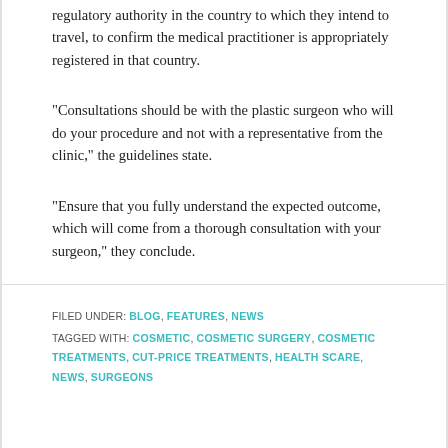regulatory authority in the country to which they intend to travel, to confirm the medical practitioner is appropriately registered in that country.
“Consultations should be with the plastic surgeon who will do your procedure and not with a representative from the clinic,” the guidelines state.
“Ensure that you fully understand the expected outcome, which will come from a thorough consultation with your surgeon,” they conclude.
FILED UNDER: BLOG, FEATURES, NEWS
TAGGED WITH: COSMETIC, COSMETIC SURGERY, COSMETIC TREATMENTS, CUT-PRICE TREATMENTS, HEALTH SCARE, NEWS, SURGEONS